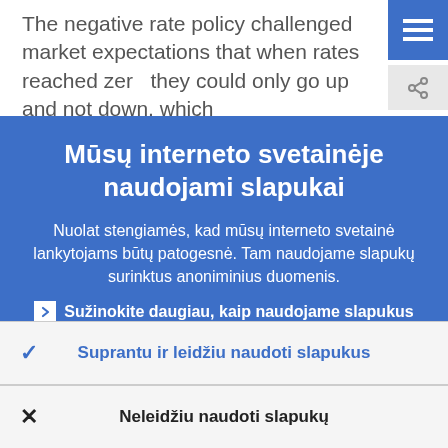The negative rate policy challenged market expectations that when rates reached zer they could only go up and not down, which
Mūsų interneto svetainėje naudojami slapukai
Nuolat stengiamės, kad mūsų interneto svetainė lankytojams būtų patogesnė. Tam naudojame slapukų surinktus anoniminius duomenis.
Sužinokite daugiau, kaip naudojame slapukus
Suprantu ir leidžiu naudoti slapukus
Neleidžiu naudoti slapukų